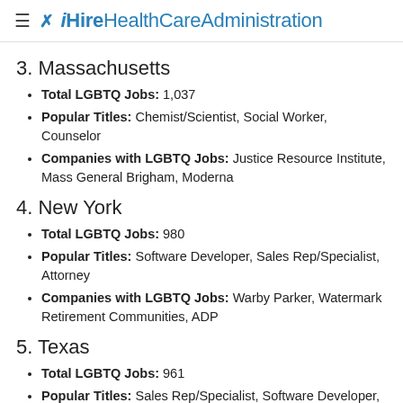≡ ✗ iHireHealthCareAdministration
3. Massachusetts
Total LGBTQ Jobs: 1,037
Popular Titles: Chemist/Scientist, Social Worker, Counselor
Companies with LGBTQ Jobs: Justice Resource Institute, Mass General Brigham, Moderna
4. New York
Total LGBTQ Jobs: 980
Popular Titles: Software Developer, Sales Rep/Specialist, Attorney
Companies with LGBTQ Jobs: Warby Parker, Watermark Retirement Communities, ADP
5. Texas
Total LGBTQ Jobs: 961
Popular Titles: Sales Rep/Specialist, Software Developer, Engineer